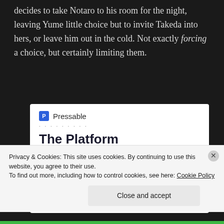decides to take Notaro to his room for the night, leaving Yume little choice but to invite Takeda into hers, or leave him out in the cold. Not exactly forcing a choice, but certainly limiting them.
[Figure (screenshot): Pressable advertisement banner: logo with dotted separator, headline 'The Platform Where WordPress Works Best' with WordPress and Best in blue, and a SEE PRICING button]
Privacy & Cookies: This site uses cookies. By continuing to use this website, you agree to their use.
To find out more, including how to control cookies, see here: Cookie Policy
Close and accept